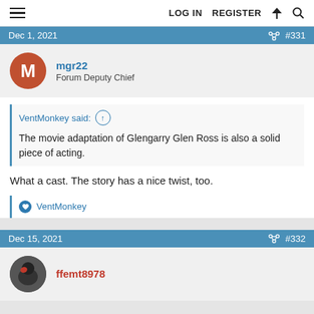LOG IN  REGISTER
Dec 1, 2021  #331
mgr22
Forum Deputy Chief
VentMonkey said:  ↑
The movie adaptation of Glengarry Glen Ross is also a solid piece of acting.
What a cast. The story has a nice twist, too.
VentMonkey
Dec 15, 2021  #332
ffemt8978